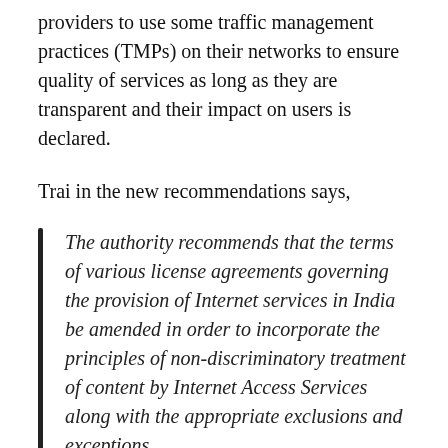providers to use some traffic management practices (TMPs) on their networks to ensure quality of services as long as they are transparent and their impact on users is declared.
Trai in the new recommendations says,
The authority recommends that the terms of various license agreements governing the provision of Internet services in India be amended in order to incorporate the principles of non-discriminatory treatment of content by Internet Access Services along with the appropriate exclusions and exceptions.